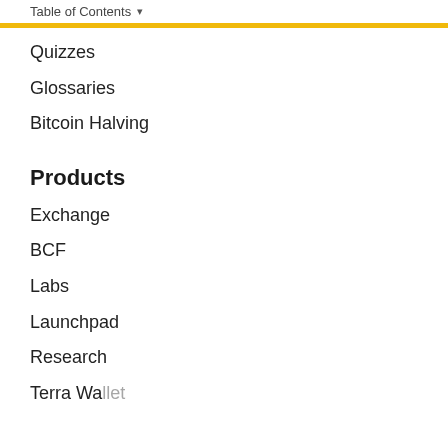Table of Contents ▾
Quizzes
Glossaries
Bitcoin Halving
Products
Exchange
BCF
Labs
Launchpad
Research
Terra Wallet